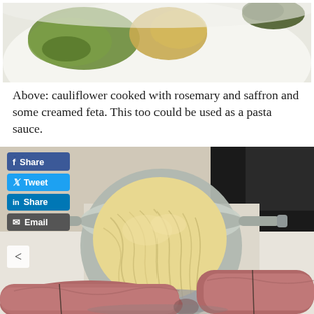[Figure (photo): Top portion of a photo showing food on a white plate — appears to be stuffed grape leaves (dolmades) and potato pieces with green vegetables]
Above: cauliflower cooked with rosemary and saffron and some creamed feta. This too could be used as a pasta sauce.
[Figure (photo): Photo of cooked pasta (tagliatelle/fettuccine) in a metal colander/strainer, with raw sausages in the foreground, on a white surface with dark background]